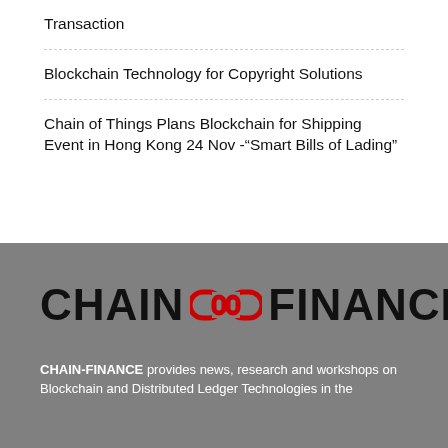Transaction
Blockchain Technology for Copyright Solutions
Chain of Things Plans Blockchain for Shipping Event in Hong Kong 24 Nov -“Smart Bills of Lading”
[Figure (logo): Chain Finance logo: CHAIN with a red chain-link icon and FINANCE in black bold text on grey background]
CHAIN-FINANCE provides news, research and workshops on Blockchain and Distributed Ledger Technologies in the